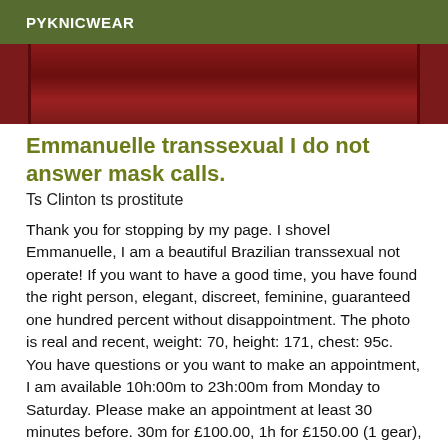PYKNICWEAR
[Figure (photo): Partial view of a person in red clothing, close-up photo strip]
Emmanuelle transsexual I do not answer mask calls.
Ts Clinton ts prostitute
Thank you for stopping by my page. I shovel Emmanuelle, I am a beautiful Brazilian transsexual not operate! If you want to have a good time, you have found the right person, elegant, discreet, feminine, guaranteed one hundred percent without disappointment. The photo is real and recent, weight: 70, height: 171, chest: 95c. You have questions or you want to make an appointment, I am available 10h:00m to 23h:00m from Monday to Saturday. Please make an appointment at least 30 minutes before. 30m for £100.00, 1h for £150.00 (1 gear), I am only passive! I DO NOT ANSWER MASK CALLING, thank you for your